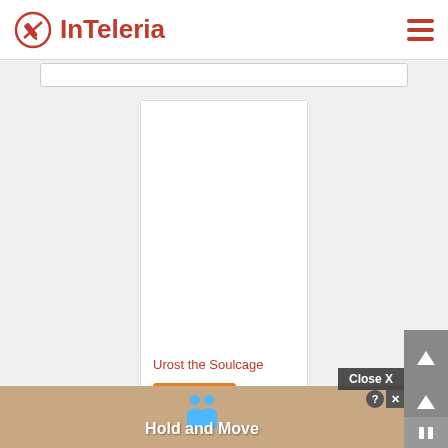InTeleria
[Figure (screenshot): InTeleria website screenshot showing a card for 'Urost the Soulcage' labeled Legendary with a triangle icon, a bottom ad overlay saying 'Hold and Move', close button, and navigation controls]
Urost the Soulcage
Legendary
Close X
Hold and Move